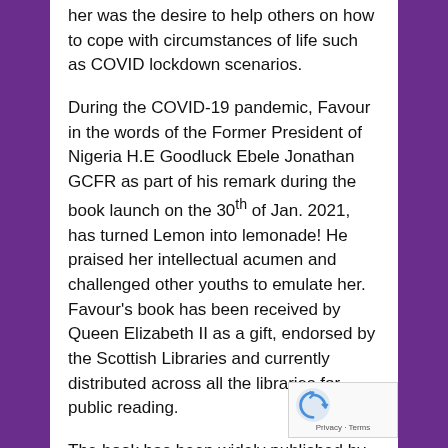her was the desire to help others on how to cope with circumstances of life such as COVID lockdown scenarios.
During the COVID-19 pandemic, Favour in the words of the Former President of Nigeria H.E Goodluck Ebele Jonathan GCFR as part of his remark during the book launch on the 30th of Jan. 2021, has turned Lemon into lemonade! He praised her intellectual acumen and challenged other youths to emulate her. Favour's book has been received by Queen Elizabeth II as a gift, endorsed by the Scottish Libraries and currently distributed across all the libraries for public reading.
The book has been widely published by many journals including The UK Press and Journal - Date: 2nd of March 2021, The